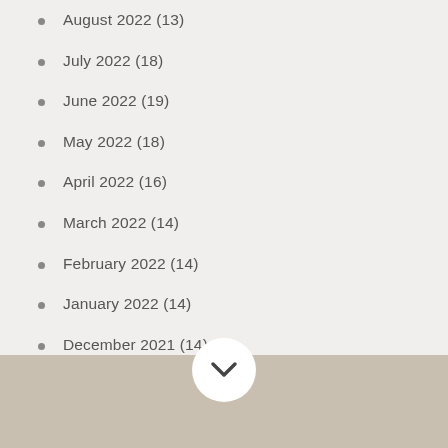August 2022 (13)
July 2022 (18)
June 2022 (19)
May 2022 (18)
April 2022 (16)
March 2022 (14)
February 2022 (14)
January 2022 (14)
December 2021 (14)
November 2021 (18)